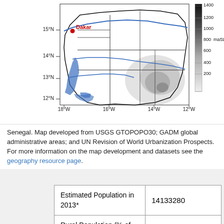[Figure (map): Map of Senegal showing regional administrative boundaries, river systems (blue lines), elevation (grayscale shading, scale from 200 to 1400 maSL), with Dakar labeled in red at approximately 15°N, 18°W. Map axes show latitude from 12°N to 15°N and longitude from 18°W to 12°W.]
Senegal. Map developed from USGS GTOPOPO30; GADM global administrative areas; and UN Revision of World Urbanization Prospects. For more information on the map development and datasets see the geography resource page.
| Estimated Population in 2013* | 14133280 |
| Rural Population (% of total)* | 56.92% |